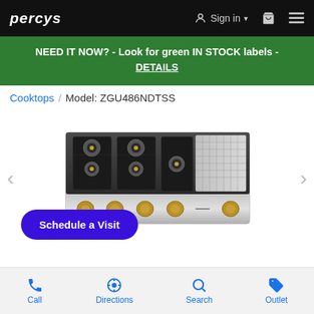PERCYS  Sign in  [cart]  [menu]
NEED IT NOW? - Look for green IN STOCK labels - DETAILS
Cooktops / Model: ZGU486NDTSS
[Figure (photo): Stainless steel gas cooktop with 6 burners and gold/brass knobs, with a griddle section on the right side, model ZGU486NDTSS]
Schedule a Visit
Call  Directions  Search  Outlet